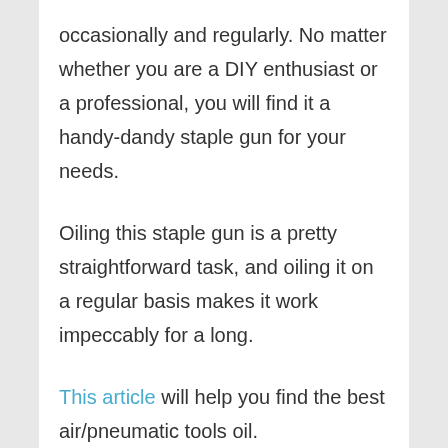occasionally and regularly. No matter whether you are a DIY enthusiast or a professional, you will find it a handy-dandy staple gun for your needs.
Oiling this staple gun is a pretty straightforward task, and oiling it on a regular basis makes it work impeccably for a long.
This article will help you find the best air/pneumatic tools oil.